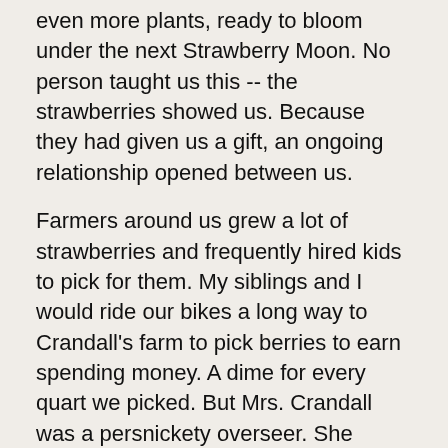even more plants, ready to bloom under the next Strawberry Moon. No person taught us this -- the strawberries showed us. Because they had given us a gift, an ongoing relationship opened between us.
Farmers around us grew a lot of strawberries and frequently hired kids to pick for them. My siblings and I would ride our bikes a long way to Crandall's farm to pick berries to earn spending money. A dime for every quart we picked. But Mrs. Crandall was a persnickety overseer. She stood at the edge of the field in her bib apron and instructed us how to pick and warned us not to crush any berries. She had other rules, too. "These berries belong to me," she said, "not to you. I don't want to see you kids eating my berries." I knew the difference: In the fields behind my house, the berries belonged to themselves. At this lady's roadside stand, she sold them for sixty cents a quart.